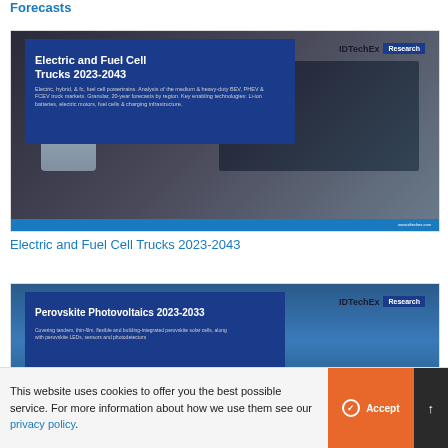Forecasts
[Figure (photo): IDTechEx Research report cover for 'Electric and Fuel Cell Trucks 2023-2043' showing a dark electric truck and charging station]
Electric and Fuel Cell Trucks 2023-2043
[Figure (photo): IDTechEx Research report cover for 'Perovskite Photovoltaics 2023-2033' showing solar panels and a crystalline structure]
This website uses cookies to offer you the best possible service. For more information about how we use them see our privacy policy.